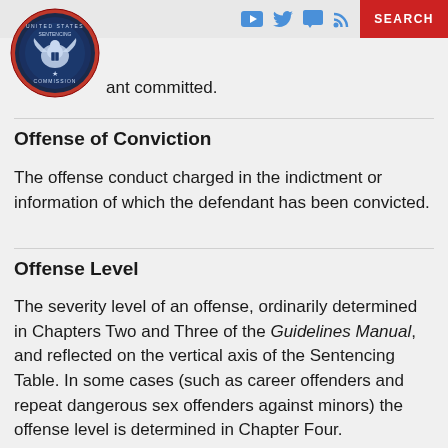SEARCH
[Figure (logo): United States Sentencing Commission circular seal/logo with eagle emblem, navy blue and red border]
ant committed.
Offense of Conviction
The offense conduct charged in the indictment or information of which the defendant has been convicted.
Offense Level
The severity level of an offense, ordinarily determined in Chapters Two and Three of the Guidelines Manual, and reflected on the vertical axis of the Sentencing Table. In some cases (such as career offenders and repeat dangerous sex offenders against minors) the offense level is determined in Chapter Four.